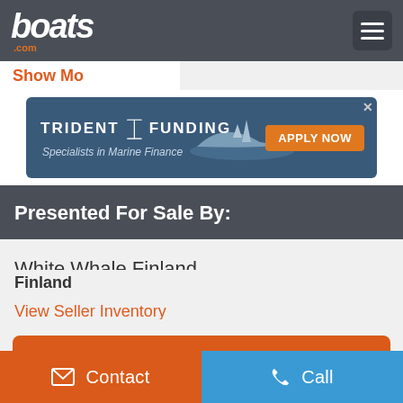boats.com
Show Mo...
[Figure (infographic): Trident Funding advertisement banner — 'TRIDENT FUNDING Specialists in Marine Finance APPLY NOW' with a boat image on blue background]
Presented For Sale By:
White Whale Finland
Finland
View Seller Inventory
Send Email
Contact   Call